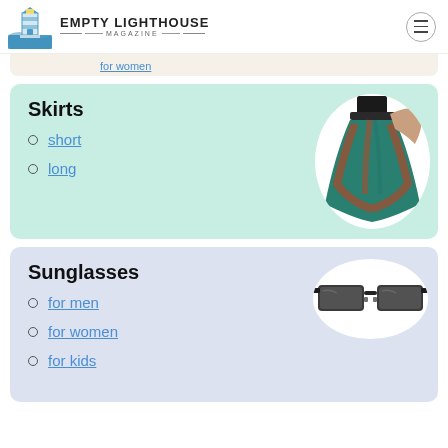EMPTY LIGHTHOUSE MAGAZINE
for women
Skirts
short
long
[Figure (photo): Woman wearing a colorful teal and orange patterned long skirt, shown from waist down, holding the fabric up]
Sunglasses
for men
for women
for kids
[Figure (photo): A pair of black rectangular sunglasses with dark lenses]